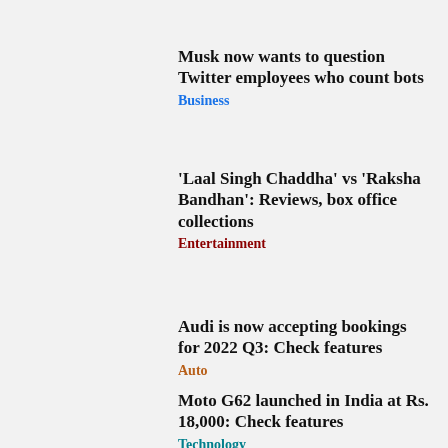Musk now wants to question Twitter employees who count bots
Business
'Laal Singh Chaddha' vs 'Raksha Bandhan': Reviews, box office collections
Entertainment
Audi is now accepting bookings for 2022 Q3: Check features
Auto
Moto G62 launched in India at Rs. 18,000: Check features
Technology